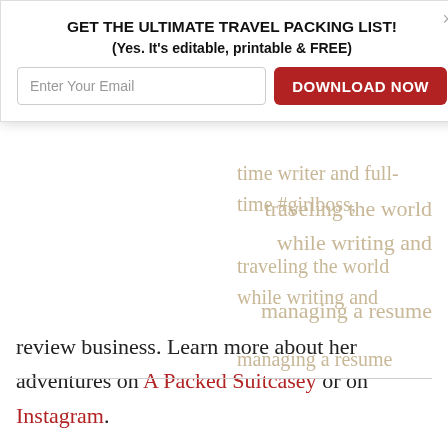GET THE ULTIMATE TRAVEL PACKING LIST! (Yes. It's editable, printable & FREE)
[Figure (screenshot): Email input field with placeholder 'Enter Your Email' and a red 'DOWNLOAD NOW' button]
time writer and full-time #girlboss, traveling the world while writing and managing a resume review business. Learn more about her adventures on A Packed Suitcasey or on Instagram.